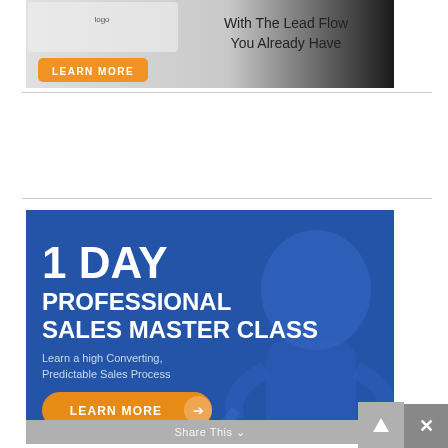[Figure (screenshot): Top advertisement banner with gray-to-dark gradient background. Text reads 'With The Lead Flow You Already Have' with an orange 'LEARN MORE' button on the left side.]
[Figure (screenshot): Bottom advertisement banner with blue background and faint figure silhouette. Text reads '1 DAY PROFESSIONAL SALES MASTER CLASS — Learn a high Converting, Predictable Sales Process' with an orange 'LEARN MORE' button with arrow. A 'Share This' bar and scroll/close buttons appear at the bottom.]